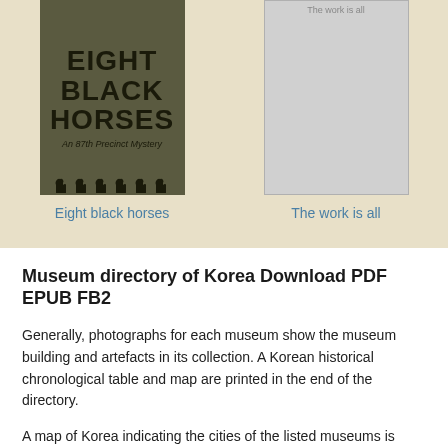[Figure (photo): Book cover of 'Eight Black Horses: An 87th Precinct Mystery' with dark olive/green background and silhouettes of horses at the bottom]
Eight black horses
[Figure (photo): Gray placeholder image with text 'The work is all' at top]
The work is all
Museum directory of Korea Download PDF EPUB FB2
Generally, photographs for each museum show the museum building and artefacts in its collection. A Korean historical chronological table and map are printed in the end of the directory.
A map of Korea indicating the cities of the listed museums is included in this cturer: Tong Chun Moonhwa Publishing Compamy. We